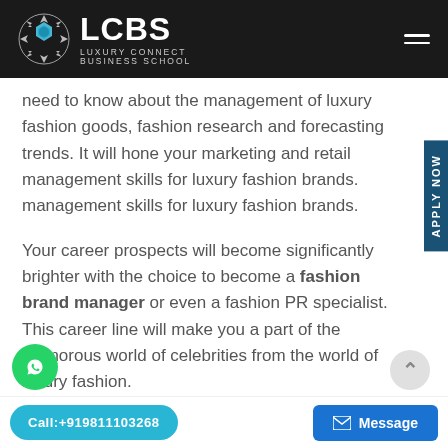LCBS LUXURY CONNECT BUSINESS SCHOOL
need to know about the management of luxury fashion goods, fashion research and forecasting trends. It will hone your marketing and retail management skills for luxury fashion brands. management skills for luxury fashion brands.
Your career prospects will become significantly brighter with the choice to become a fashion brand manager or even a fashion PR specialist. This career line will make you a part of the glamorous world of celebrities from the world of luxury fashion.
Call:+919811103268 | Message